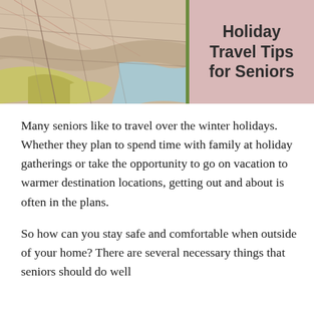[Figure (photo): A map photo on the left side with terrain and route markings in beige/yellow/green tones, separated by a green vertical divider from a pink/dusty rose background panel on the right.]
Holiday Travel Tips for Seniors
Many seniors like to travel over the winter holidays. Whether they plan to spend time with family at holiday gatherings or take the opportunity to go on vacation to warmer destination locations, getting out and about is often in the plans.
So how can you stay safe and comfortable when outside of your home? There are several necessary things that seniors should do well